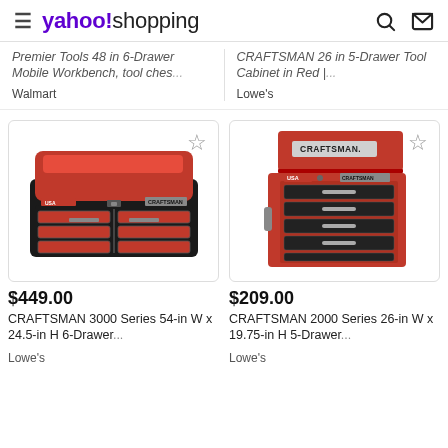yahoo!shopping
Premier Tools 48 in 6-Drawer Mobile Workbench, tool ches...
Walmart
CRAFTSMAN 26 in 5-Drawer Tool Cabinet in Red |...
Lowe's
[Figure (photo): CRAFTSMAN 3000 Series red and black 6-drawer tool chest, closed, top view]
[Figure (photo): CRAFTSMAN 2000 Series red 5-drawer tool chest with lid open showing CRAFTSMAN branding]
$449.00
CRAFTSMAN 3000 Series 54-in W x 24.5-in H 6-Drawer...
Lowe's
$209.00
CRAFTSMAN 2000 Series 26-in W x 19.75-in H 5-Drawer...
Lowe's